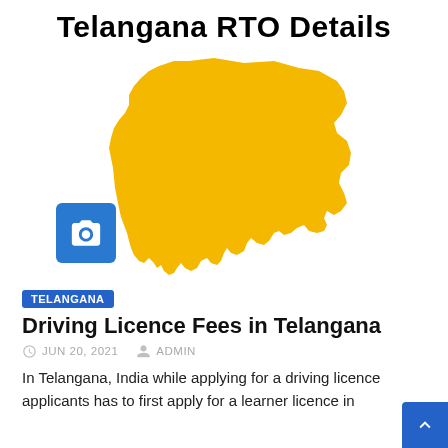Telangana RTO Details
[Figure (map): Yellow silhouette map of Telangana state, India, with a blue camera icon overlay in the lower-left corner]
TELANGANA
Driving Licence Fees in Telangana
JUN 20, 2021   ADMIN
In Telangana, India while applying for a driving licence applicants has to first apply for a learner licence in